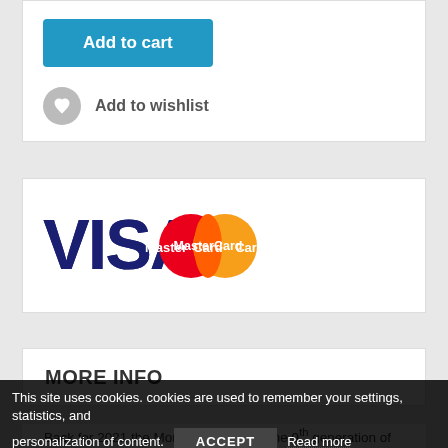[Figure (other): Add to cart button — teal/blue rounded rectangle button with white bold text 'Add to cart']
Add to wishlist
[Figure (logo): VISA and MasterCard payment logos side by side]
MORE INFO
Back for 2021 the Monk Chromatic is the 9th generation of one of the worlds most popular kiteboards.
Crisp and sharp performance in an industry leading package that eliminates compromise. Combining proven aerodynamic principles we outstanding all to provide on board that once grip, flip and slash without causing
This site uses cookies. cookies are used to remember your settings, statistics, and personalization of content.
ACCEPT
Read more